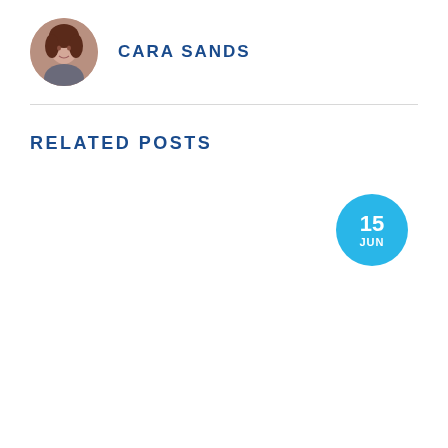[Figure (photo): Circular avatar photo of a woman with dark hair, Cara Sands]
CARA SANDS
RELATED POSTS
[Figure (infographic): Blue circular date badge showing '15 JUN']